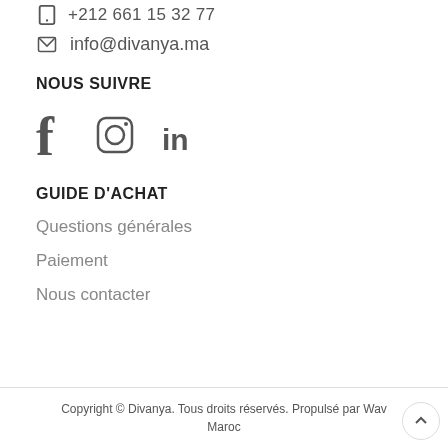+212 661 15 32 77
info@divanya.ma
NOUS SUIVRE
[Figure (other): Social media icons: Facebook, Instagram, LinkedIn]
GUIDE D'ACHAT
Questions générales
Paiement
Nous contacter
Copyright © Divanya. Tous droits réservés. Propulsé par Wave Maroc